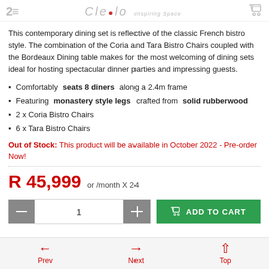Cielo Inspiring Space
This contemporary dining set is reflective of the classic French bistro style. The combination of the Coria and Tara Bistro Chairs coupled with the Bordeaux Dining table makes for the most welcoming of dining sets ideal for hosting spectacular dinner parties and impressing guests.
Comfortably seats 8 diners along a 2.4m frame
Featuring monastery style legs crafted from solid rubberwood
2 x Coria Bistro Chairs
6 x Tara Bistro Chairs
Out of Stock: This product will be available in October 2022 - Pre-order Now!
R 45,999 or /month X 24
Prev  Next  Top